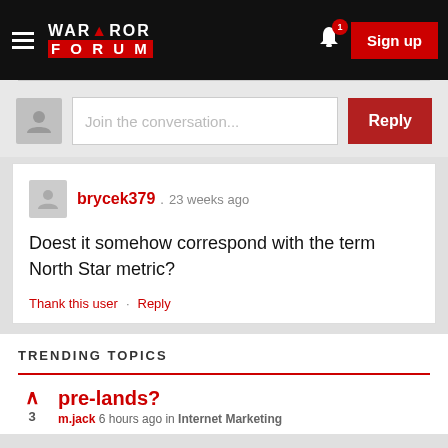Warrior Forum — Sign up
Join the conversation...
brycek379 · 23 weeks ago — Doest it somehow correspond with the term North Star metric? Thank this user · Reply
TRENDING TOPICS
pre-lands?
m.jack 6 hours ago in Internet Marketing